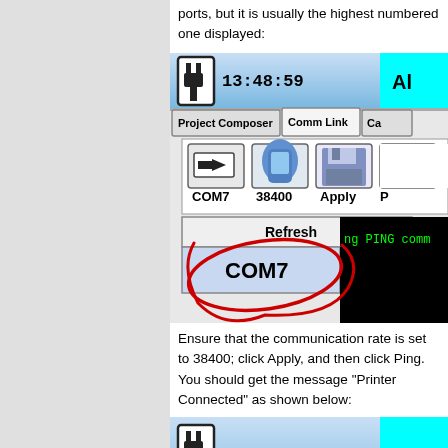ports, but it is usually the highest numbered one displayed:
[Figure (screenshot): Screenshot of software interface showing Comm Link tab with COM7 selected at 38400 baud. A red hand-drawn circle highlights COM7 in the dropdown list. Terminal shows 'ng PING comm' and 'er connected' in green text.]
Ensure that the communication rate is set to 38400; click Apply, and then click Ping. You should get the message "Printer Connected" as shown below:
[Figure (screenshot): Screenshot of software interface showing toolbar with time 13:49:21 and cyan block on the right.]